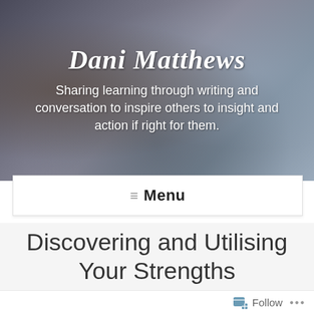[Figure (screenshot): Hero banner with blurred photo background of a person reading, overlaid with blog title 'Dani Matthews' in script font and subtitle text in white]
Dani Matthews
Sharing learning through writing and conversation to inspire others to insight and action if right for them.
≡ Menu
Discovering and Utilising Your Strengths
Follow ...